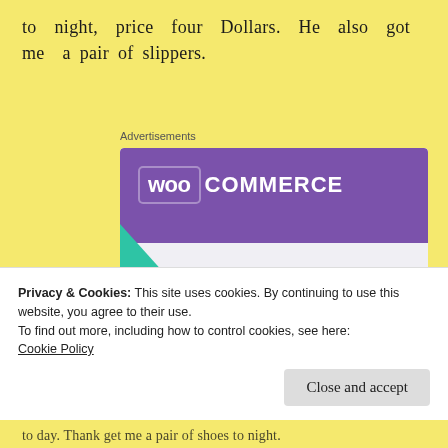to night, price four Dollars. He also got me a pair of slippers.
Advertisements
[Figure (illustration): WooCommerce advertisement banner with purple header containing WooCommerce logo, teal triangle shape on left, blue quarter-circle on right, and bold text reading 'How to start selling subscriptions online' on white/light grey background.]
Privacy & Cookies: This site uses cookies. By continuing to use this website, you agree to their use.
To find out more, including how to control cookies, see here: Cookie Policy
to day. Thank get me a pair of shoes to night.